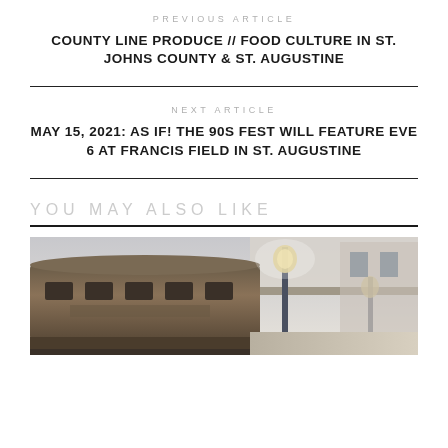PREVIOUS ARTICLE
COUNTY LINE PRODUCE // FOOD CULTURE IN ST. JOHNS COUNTY & ST. AUGUSTINE
NEXT ARTICLE
MAY 15, 2021: AS IF! THE 90S FEST WILL FEATURE EVE 6 AT FRANCIS FIELD IN ST. AUGUSTINE
YOU MAY ALSO LIKE
[Figure (photo): A vintage train car at a station platform with a lamp post, photographed in a moody, desaturated style]